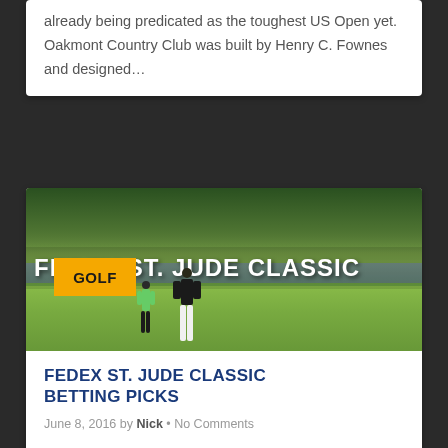already being predicated as the toughest US Open yet. Oakmont Country Club was built by Henry C. Fownes and designed…
[Figure (photo): Golf photo showing golfers on the green at FedEx St. Jude Classic, with a large white banner reading 'FEDEX ST. JUDE CLASSIC' and an orange GOLF category badge overlay]
FEDEX ST. JUDE CLASSIC BETTING PICKS
June 8, 2016 by Nick • No Comments
With only one week to go before the US Open, The FedEx St. Jude Classic is really the last chance saloon for golfers to sharpen their games before the second…